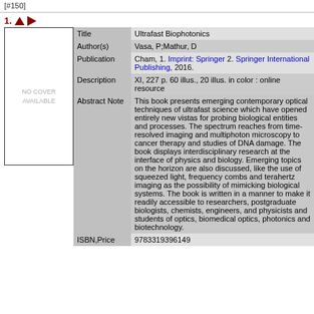[#150]
1. ↑ →
| Field | Value |
| --- | --- |
| Title | Ultrafast Biophotonics |
| Author(s) | Vasa, P;Mathur, D |
| Publication | Cham, 1. Imprint: Springer 2. Springer International Publishing, 2016. |
| Description | XI, 227 p. 60 illus., 20 illus. in color : online resource |
| Abstract Note | This book presents emerging contemporary optical techniques of ultrafast science which have opened entirely new vistas for probing biological entities and processes. The spectrum reaches from time-resolved imaging and multiphoton microscopy to cancer therapy and studies of DNA damage. The book displays interdisciplinary research at the interface of physics and biology. Emerging topics on the horizon are also discussed, like the use of squeezed light, frequency combs and terahertz imaging as the possibility of mimicking biological systems. The book is written in a manner to make it readily accessible to researchers, postgraduate biologists, chemists, engineers, and physicists and students of optics, biomedical optics, photonics and biotechnology. |
| ISBN,Price | 9783319396149 |